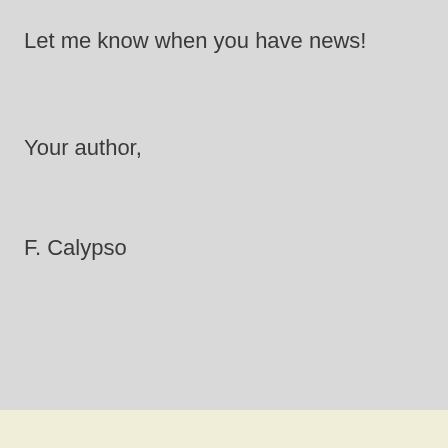Let me know when you have news!
Your author,
F. Calypso